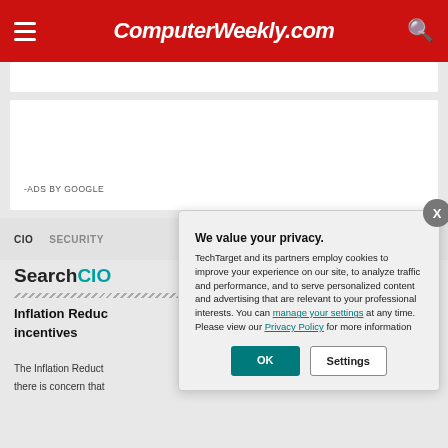ComputerWeekly.com
-ADS BY GOOGLE
CIO  SECURITY
SearchCIO
Inflation Reduc incentives
The Inflation Reduct there is concern that
We value your privacy. TechTarget and its partners employ cookies to improve your experience on our site, to analyze traffic and performance, and to serve personalized content and advertising that are relevant to your professional interests. You can manage your settings at any time. Please view our Privacy Policy for more information